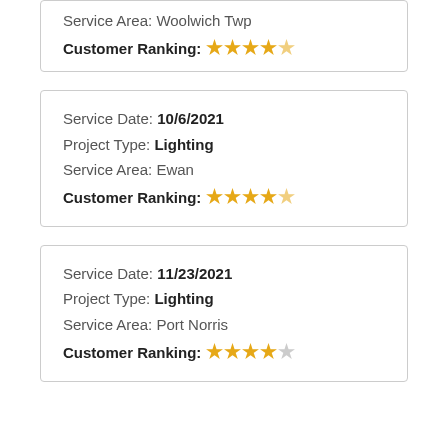Service Area: Woolwich Twp
Customer Ranking: ★★★★☆
Service Date: 10/6/2021
Project Type: Lighting
Service Area: Ewan
Customer Ranking: ★★★★★
Service Date: 11/23/2021
Project Type: Lighting
Service Area: Port Norris
Customer Ranking: ★★★★☆